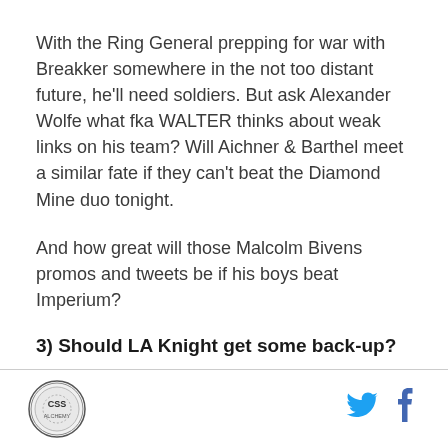With the Ring General prepping for war with Breakker somewhere in the not too distant future, he'll need soldiers. But ask Alexander Wolfe what fka WALTER thinks about weak links on his team? Will Aichner & Barthel meet a similar fate if they can't beat the Diamond Mine duo tonight.
And how great will those Malcolm Bivens promos and tweets be if his boys beat Imperium?
3) Should LA Knight get some back-up?
[Figure (logo): Circular logo with CSS text and border design]